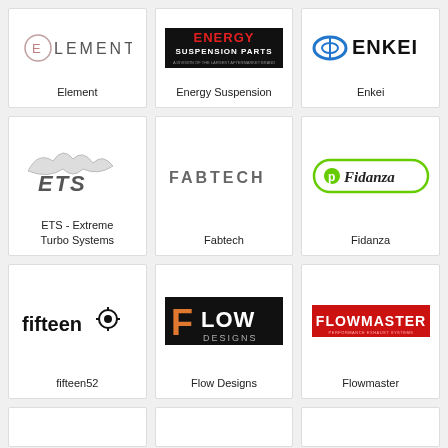[Figure (logo): Element brand logo - circular E with ELEMENT text]
Element
[Figure (logo): Energy Suspension Parts logo - red/black banner with white text]
Energy Suspension
[Figure (logo): Enkei wheels logo - blue infinity-like symbol with ENKEI text]
Enkei
[Figure (logo): ETS Extreme Turbo Systems logo - eagle/bird graphic with ETS text]
ETS - Extreme Turbo Systems
[Figure (logo): Fabtech logo - grey industrial text FABTECH]
Fabtech
[Figure (logo): Fidanza performance logo - green and black oval with Fidanza text]
Fidanza
[Figure (logo): fifteen52 logo - bold black fifteen52 text with gear/arrow icon]
fifteen52
[Figure (logo): Flow Designs logo - black banner with orange F and FLOW DESIGNS text]
Flow Designs
[Figure (logo): Flowmaster logo - red banner with white FLOWMASTER text]
Flowmaster